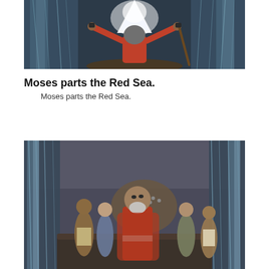[Figure (illustration): 3D animated scene of Moses from behind, arms raised wide holding a staff, parting the Red Sea with walls of water on each side and a bright light in the center]
Moses parts the Red Sea.
Moses parts the Red Sea.
[Figure (illustration): 3D animated scene showing Moses with a white beard wearing a red robe, standing with a crowd of people including men and women walking between tall walls of water on the dry seabed]